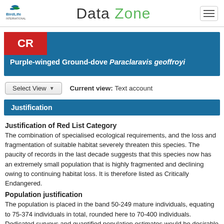BirdLife International | Data Zone
[Figure (logo): BirdLife International logo with bird graphic]
Data Zone
CR
Purple-winged Ground-dove Paraclaravis geoffroyi
Select View ▼   Current view: Text account
Justification
Justification of Red List Category
The combination of specialised ecological requirements, and the loss and fragmentation of suitable habitat severely threaten this species. The paucity of records in the last decade suggests that this species now has an extremely small population that is highly fragmented and declining owing to continuing habitat loss. It is therefore listed as Critically Endangered.
Population justification
The population is placed in the band 50-249 mature individuals, equating to 75-374 individuals in total, rounded here to 70-400 individuals. Dedicated surveys and quantified population estimates would be desirable to confirm this.